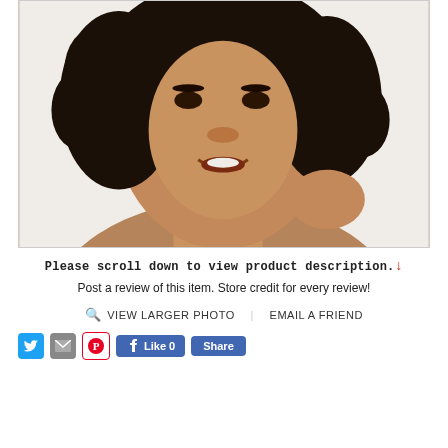[Figure (photo): Close-up photo of a smiling woman with curly hair, touching her neck/chin area, against a white background. Beauty/cosmetic product model shot.]
Please scroll down to view product description. ↓
Post a review of this item. Store credit for every review!
🔍 VIEW LARGER PHOTO    EMAIL A FRIEND
[Figure (other): Social sharing buttons row: Twitter, Email, Pinterest icons, Facebook Like button with count 0, Facebook Share button]